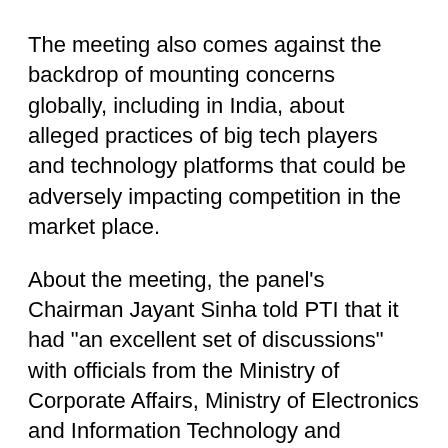The meeting also comes against the backdrop of mounting concerns globally, including in India, about alleged practices of big tech players and technology platforms that could be adversely impacting competition in the market place.
About the meeting, the panel's Chairman Jayant Sinha told PTI that it had "an excellent set of discussions" with officials from the Ministry of Corporate Affairs, Ministry of Electronics and Information Technology and Competition Commission of India.
"In our next hearing (on this issue), we will be calling most of the major tech companies to hear their perspective and how competition law in India is evolving